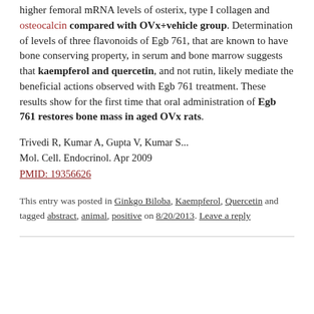higher femoral mRNA levels of osterix, type I collagen and osteocalcin compared with OVx+vehicle group. Determination of levels of three flavonoids of Egb 761, that are known to have bone conserving property, in serum and bone marrow suggests that kaempferol and quercetin, and not rutin, likely mediate the beneficial actions observed with Egb 761 treatment. These results show for the first time that oral administration of Egb 761 restores bone mass in aged OVx rats.
Trivedi R, Kumar A, Gupta V, Kumar S...
Mol. Cell. Endocrinol. Apr 2009
PMID: 19356626
This entry was posted in Ginkgo Biloba, Kaempferol, Quercetin and tagged abstract, animal, positive on 8/20/2013. Leave a reply